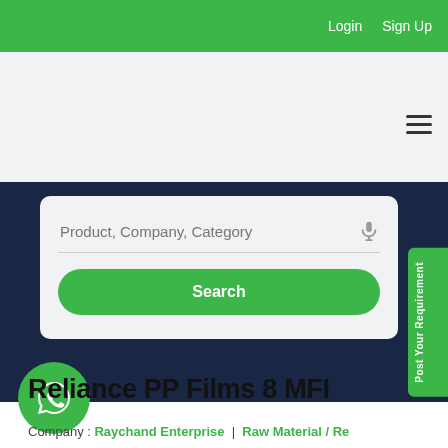Login  Sign Up
[Figure (screenshot): Search bar with placeholder 'Product, Company, Category' and a green Search button]
Reliance PP Films 8 MFI
Company : Raychand Enterprise  |  Raw Material / Re